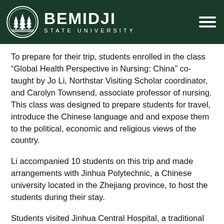[Figure (logo): Bemidji State University logo with pine trees in a circle and university name text, white on dark green background header]
To prepare for their trip, students enrolled in the class “Global Health Perspective in Nursing: China” co-taught by Jo Li, Northstar Visiting Scholar coordinator, and Carolyn Townsend, associate professor of nursing. This class was designed to prepare students for travel, introduce the Chinese language and and expose them to the political, economic and religious views of the country.
Li accompanied 10 students on this trip and made arrangements with Jinhua Polytechnic, a Chinese university located in the Zhejiang province, to host the students during their stay.
Students visited Jinhua Central Hospital, a traditional medicine hospital, community clinics and attended